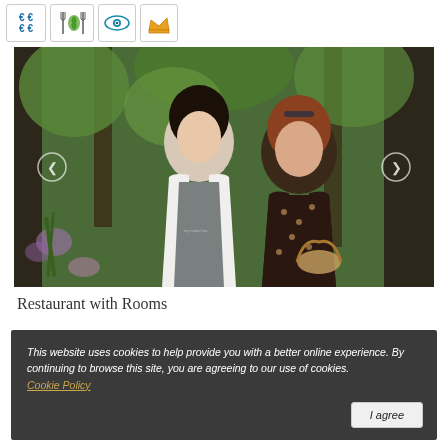[Figure (infographic): Row of four icon boxes: price (€€/€€), food/eco icon (fork with green leaf), eye icon (blue eye), crown icon (orange crown)]
[Figure (photo): Two women standing outdoors in a lush green garden. The woman on the left wears a white shirt and grey apron with a logo. The woman on the right wears a dark floral dress and holds a basket. There are navigation arrows on each side of the photo.]
Restaurant with Rooms
This website uses cookies to help provide you with a better online experience. By continuing to browse this site, you are agreeing to our use of cookies. Cookie Policy
I agree